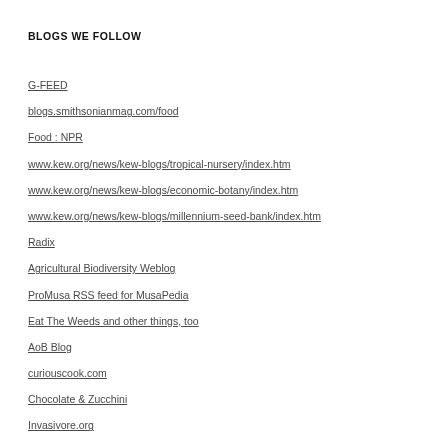BLOGS WE FOLLOW
G-FEED
blogs.smithsonianmag.com/food
Food : NPR
www.kew.org/news/kew-blogs/tropical-nursery/index.htm
www.kew.org/news/kew-blogs/economic-botany/index.htm
www.kew.org/news/kew-blogs/millennium-seed-bank/index.htm
Radix
Agricultural Biodiversity Weblog
ProMusa RSS feed for MusaPedia
Eat The Weeds and other things, too
AoB Blog
curiouscook.com
Chocolate & Zucchini
Invasivore.org
101 Cookbooks
Hunter Angler Gardener Cook